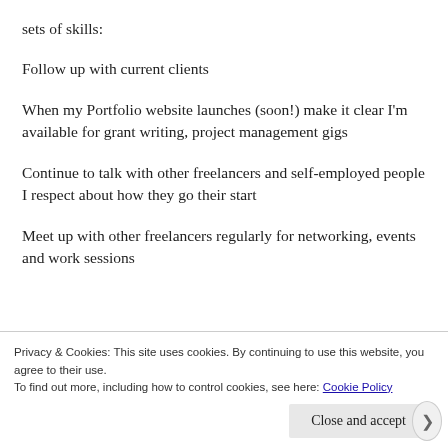sets of skills:
Follow up with current clients
When my Portfolio website launches (soon!) make it clear I'm available for grant writing, project management gigs
Continue to talk with other freelancers and self-employed people I respect about how they go their start
Meet up with other freelancers regularly for networking, events and work sessions
Privacy & Cookies: This site uses cookies. By continuing to use this website, you agree to their use.
To find out more, including how to control cookies, see here: Cookie Policy
Close and accept